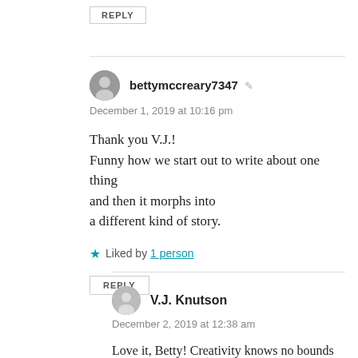REPLY
bettymccreary7347
December 1, 2019 at 10:16 pm
Thank you V.J.!
Funny how we start out to write about one thing and then it morphs into
a different kind of story.
Liked by 1 person
REPLY
V.J. Knutson
December 2, 2019 at 12:38 am
Love it, Betty! Creativity knows no bounds